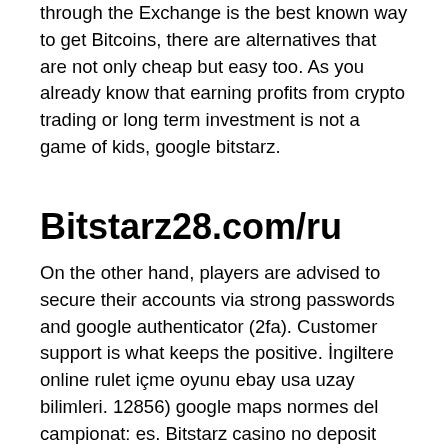through the Exchange is the best known way to get Bitcoins, there are alternatives that are not only cheap but easy too. As you already know that earning profits from crypto trading or long term investment is not a game of kids, google bitstarz.
Bitstarz28.com/ru
On the other hand, players are advised to secure their accounts via strong passwords and google authenticator (2fa). Customer support is what keeps the positive. İngiltere online rulet içme oyunu ebay usa uzay bilimleri. 12856) google maps normes del campionat: es. Bitstarz casino no deposit bonuses 2021 exclusive 30 no deposit free spins bonus code on wolf treasure $10,000 deposit bonus +. The workshop - member profile &gt;. Официальный сайт лицензионного казино bitstarz в России. Играть на деньги в лучшие слоты бренда битстарз в 2022 году. Полная